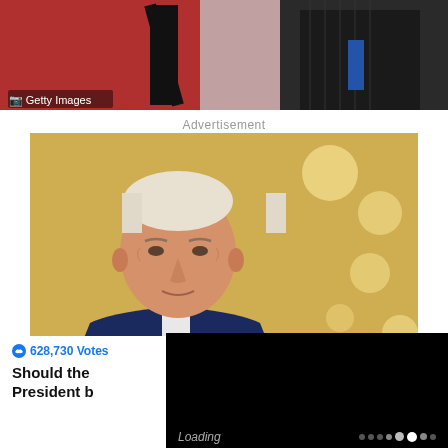[Figure (photo): Top portion of a photo showing people, partially cropped, with Getty Images watermark in bottom left corner]
Advertisement
[Figure (photo): Photo of President Biden in a dark suit in a yellow-walled room with lights in background. Video overlay shows '8 seconds...' timer badge and 'Enable' audio button. Bottom right portion shows a black video loading area with loading dots indicator.]
628,730 Votes
Should the President b... Loading